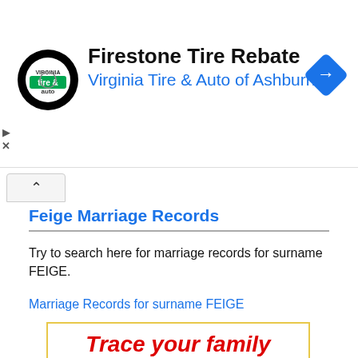[Figure (other): Ad banner for Firestone Tire Rebate / Virginia Tire & Auto of Ashburn with logo and navigation arrow icon]
Feige Marriage Records
Try to search here for marriage records for surname FEIGE.
Marriage Records for surname FEIGE
[Figure (other): Advertisement box with yellow border: 'Trace your family in Argentina' in large red italic bold text, followed by 'We will find and contact your lost family' in black text]